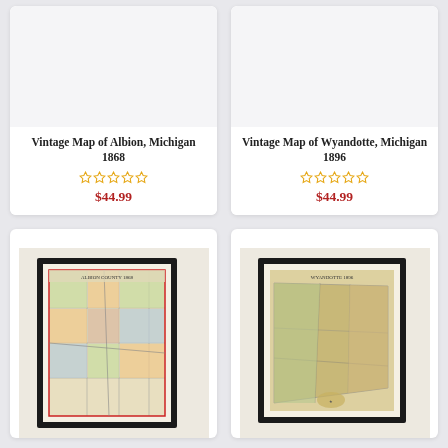Vintage Map of Albion, Michigan 1868
$44.99
Vintage Map of Wyandotte, Michigan 1896
$44.99
[Figure (photo): Framed vintage map product - Albion Michigan 1868, shown as a map with colored county grids in a black frame]
[Figure (photo): Framed vintage map product - Wyandotte Michigan 1896, triangular shaped state map in a black frame]